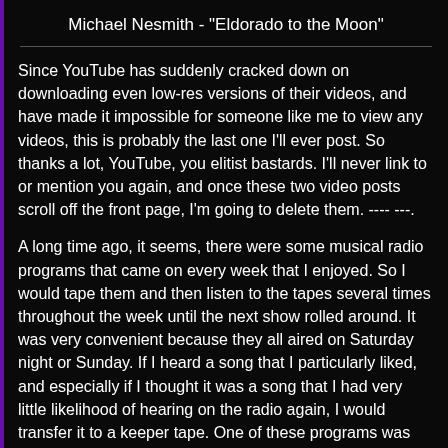Michael Nesmith - "Eldorado to the Moon"
Since YouTube has suddenly cracked down on downloading even low-res versions of their videos, and have made it impossible for someone like me to view any videos, this is probably the last one I'll ever post. So thanks a lot, YouTube, you elitist bastards. I'll never link to or mention you again, and once these two video posts scroll off the front page, I'm going to delete them. ---- ---.
A long time ago, it seems, there were some musical radio programs that came on every week that I enjoyed. So I would tape them and then listen to the tapes several times throughout the week until the next show rolled around. It was very convenient because they all aired on Saturday night or Sunday. If I heard a song that I particularly liked, and especially if I thought it was a song that I had very little likelihood of hearing on the radio again, I would transfer it to a keeper tape. One of these programs was called "Sunday Night Session," which I believe still airs Sunday nights on KSTX (the local public radio station). This program focuses